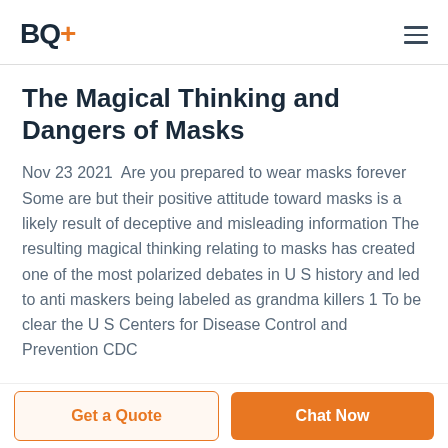BQ+
The Magical Thinking and Dangers of Masks
Nov 23 2021  Are you prepared to wear masks forever Some are but their positive attitude toward masks is a likely result of deceptive and misleading information The resulting magical thinking relating to masks has created one of the most polarized debates in U S history and led to anti maskers being labeled as grandma killers 1 To be clear the U S Centers for Disease Control and Prevention CDC